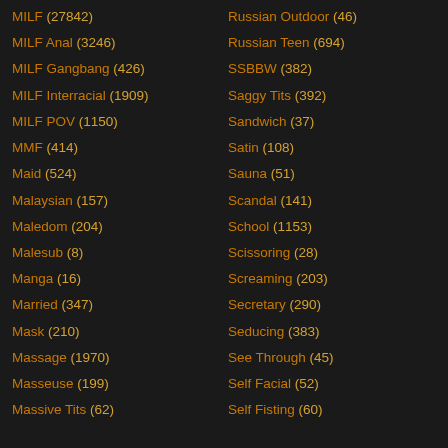MILF (27842)
MILF Anal (3246)
MILF Gangbang (426)
MILF Interracial (1909)
MILF POV (1150)
MMF (414)
Maid (524)
Malaysian (157)
Maledom (204)
Malesub (8)
Manga (16)
Married (347)
Mask (210)
Massage (1970)
Masseuse (199)
Massive Tits (62)
Russian Outdoor (46)
Russian Teen (694)
SSBBW (382)
Saggy Tits (392)
Sandwich (37)
Satin (108)
Sauna (51)
Scandal (141)
School (1153)
Scissoring (28)
Screaming (203)
Secretary (290)
Seducing (383)
See Through (45)
Self Facial (52)
Self Fisting (60)